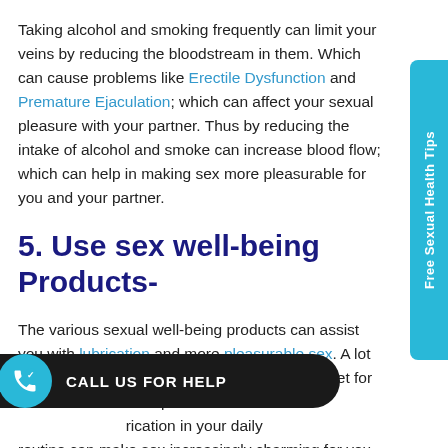Taking alcohol and smoking frequently can limit your veins by reducing the bloodstream in them. Which can cause problems like Erectile Dysfunction and Premature Ejaculation; which can affect your sexual pleasure with your partner. Thus by reducing the intake of alcohol and smoke can increase blood flow; which can help in making sex more pleasurable for you and your partner.
5. Use sex well-being Products-
The various sexual well-being products can assist you with lubrication and more pleasurable sex. A lot of artificial lubricants are available on the market for making sex more pleasurable. Thus incorporating lubrication in your daily routine can make sex increasingly charming for you